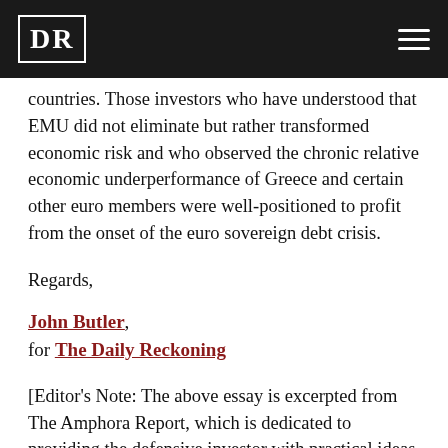DR
countries. Those investors who have understood that EMU did not eliminate but rather transformed economic risk and who observed the chronic relative economic underperformance of Greece and certain other euro members were well-positioned to profit from the onset of the euro sovereign debt crisis.
Regards,
John Butler, for The Daily Reckoning
[Editor's Note: The above essay is excerpted from The Amphora Report, which is dedicated to providing the defensive investor with practical ideas for protecting wealth and maintaining liquidity in a world in a which